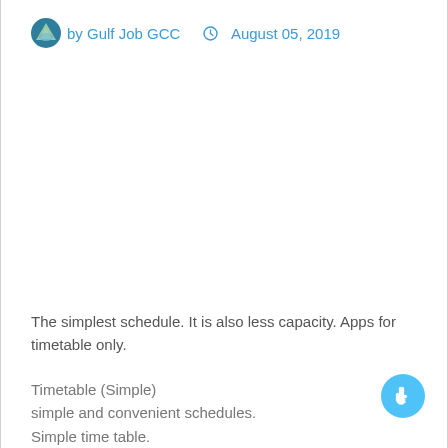by Gulf Job GCC  August 05, 2019
The simplest schedule. It is also less capacity. Apps for timetable only.
Timetable (Simple)
simple and convenient schedules.
Simple time table.